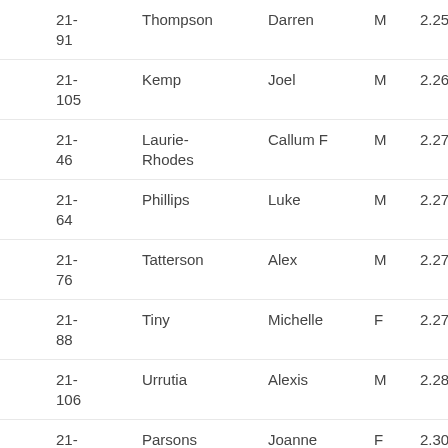| ID | Last Name | First Name | Gender | Time |
| --- | --- | --- | --- | --- |
| 21-91 | Thompson | Darren | M | 2.25.07 |
| 21-105 | Kemp | Joel | M | 2.26.22 |
| 21-46 | Laurie-Rhodes | Callum F | M | 2.27.19 |
| 21-64 | Phillips | Luke | M | 2.27.19 |
| 21-76 | Tatterson | Alex | M | 2.27.19 |
| 21-88 | Tiny | Michelle | F | 2.27.20 |
| 21-106 | Urrutia | Alexis | M | 2.28.12 |
| 21-59 | Parsons | Joanne | F | 2.30.41 |
| 21-02 | Barr | Ilka | F | 2.31.00 |
| 21- | Cordy | Darren | M | 2.31.19 |